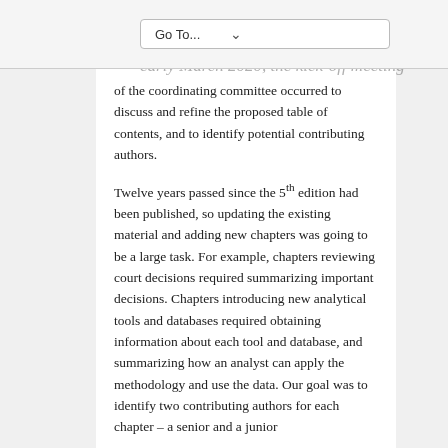Go To...
proposed acquisition of the rights to Buying a Business by the ASAEF. In early March 2020, the kick-off meeting of the coordinating committee occurred to discuss and refine the proposed table of contents, and to identify potential contributing authors.
Twelve years passed since the 5th edition had been published, so updating the existing material and adding new chapters was going to be a large task. For example, chapters reviewing court decisions required summarizing important decisions. Chapters introducing new analytical tools and databases required obtaining information about each tool and database, and summarizing how an analyst can apply the methodology and use the data. Our goal was to identify two contributing authors for each chapter – a senior and a junior